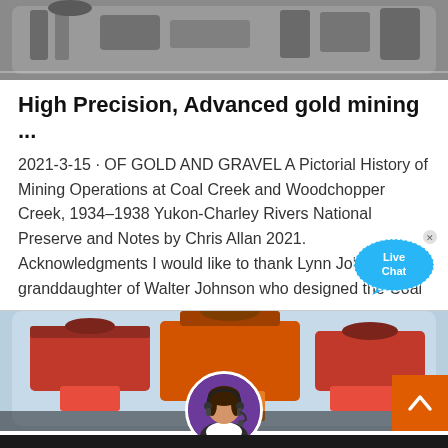[Figure (photo): Top portion of a mining machinery photograph, showing metal equipment against a grey background, partially visible, rounded corners at bottom]
High Precision, Advanced gold mining ...
2021-3-15 · OF GOLD AND GRAVEL A Pictorial History of Mining Operations at Coal Creek and Woodchopper Creek, 1934–1938 Yukon-Charley Rivers National Preserve and Notes by Chris Allan 2021. Acknowledgments I would like to thank Lynn Johnson, the granddaughter of Walter Johnson who designed the Coal
[Figure (photo): Red and orange mining machinery (shaker/vibrating equipment) in an industrial setting with blue-grey background, partially visible at bottom of page]
[Figure (screenshot): Live Chat bubble/widget overlay — blue speech bubble with 'Live Chat' text and an X close button]
[Figure (photo): Chat support avatar — circular portrait of a female customer service agent wearing a headset, with purple border, centered at bottom]
Leave Message   Chat Online